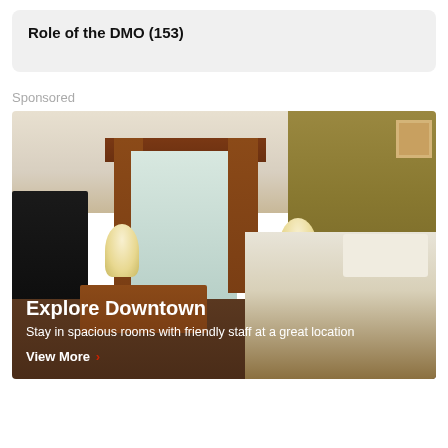Role of the DMO (153)
Sponsored
[Figure (photo): Hotel room interior showing two beds with white pillows and brown comforter, a desk with chair, two lamps, a window with brown curtains, a wall-mounted TV, and artwork on an olive-green wall.]
Explore Downtown
Stay in spacious rooms with friendly staff at a great location
View More ›